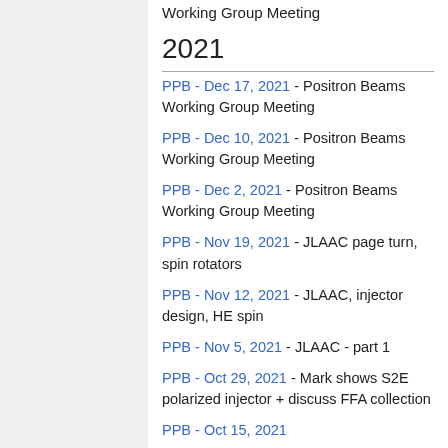Working Group Meeting
2021
PPB - Dec 17, 2021 - Positron Beams Working Group Meeting
PPB - Dec 10, 2021 - Positron Beams Working Group Meeting
PPB - Dec 2, 2021 - Positron Beams Working Group Meeting
PPB - Nov 19, 2021 - JLAAC page turn, spin rotators
PPB - Nov 12, 2021 - JLAAC, injector design, HE spin
PPB - Nov 5, 2021 - JLAAC - part 1
PPB - Oct 29, 2021 - Mark shows S2E polarized injector + discuss FFA collection
PPB - Oct 15, 2021